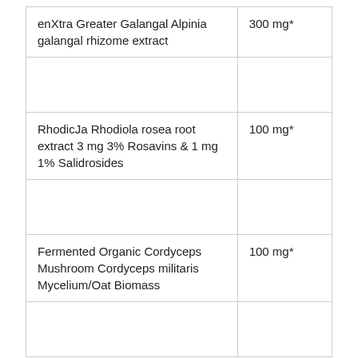| Ingredient | Amount |
| --- | --- |
| enXtra Greater Galangal Alpinia galangal rhizome extract | 300 mg* |
|  |  |
| RhodicJa Rhodiola rosea root extract 3 mg 3% Rosavins & 1 mg 1% Salidrosides | 100 mg* |
|  |  |
| Fermented Organic Cordyceps Mushroom Cordyceps militaris Mycelium/Oat Biomass | 100 mg* |
|  |  |